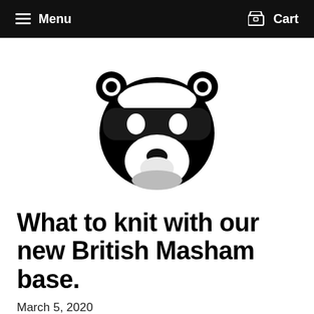Menu  Cart
[Figure (logo): Black and white cartoon badger face logo — round head with ears, dark mask across eyes, white muzzle with nose]
What to knit with our new British Masham base.
March 5, 2020